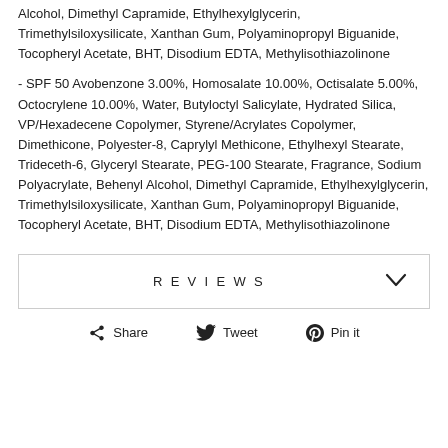Alcohol, Dimethyl Capramide, Ethylhexylglycerin, Trimethylsiloxysilicate, Xanthan Gum, Polyaminopropyl Biguanide, Tocopheryl Acetate, BHT, Disodium EDTA, Methylisothiazolinone
- SPF 50 Avobenzone 3.00%, Homosalate 10.00%, Octisalate 5.00%, Octocrylene 10.00%, Water, Butyloctyl Salicylate, Hydrated Silica, VP/Hexadecene Copolymer, Styrene/Acrylates Copolymer, Dimethicone, Polyester-8, Caprylyl Methicone, Ethylhexyl Stearate, Trideceth-6, Glyceryl Stearate, PEG-100 Stearate, Fragrance, Sodium Polyacrylate, Behenyl Alcohol, Dimethyl Capramide, Ethylhexylglycerin, Trimethylsiloxysilicate, Xanthan Gum, Polyaminopropyl Biguanide, Tocopheryl Acetate, BHT, Disodium EDTA, Methylisothiazolinone
REVIEWS
Share  Tweet  Pin it